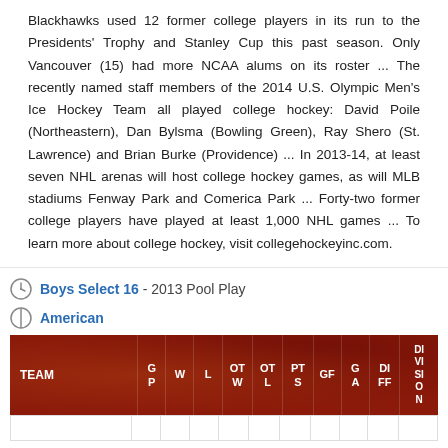Blackhawks used 12 former college players in its run to the Presidents' Trophy and Stanley Cup this past season. Only Vancouver (15) had more NCAA alums on its roster ... The recently named staff members of the 2014 U.S. Olympic Men's Ice Hockey Team all played college hockey: David Poile (Northeastern), Dan Bylsma (Bowling Green), Ray Shero (St. Lawrence) and Brian Burke (Providence) ... In 2013-14, at least seven NHL arenas will host college hockey games, as will MLB stadiums Fenway Park and Comerica Park ... Forty-two former college players have played at least 1,000 NHL games ... To learn more about college hockey, visit collegehockeyinc.com.
Boys Select 16 - 2013 Pool Play
American
| TEAM | GP | W | L | OTW | OTL | PTS | GF | GA | DIFF | DIVISION |
| --- | --- | --- | --- | --- | --- | --- | --- | --- | --- | --- |